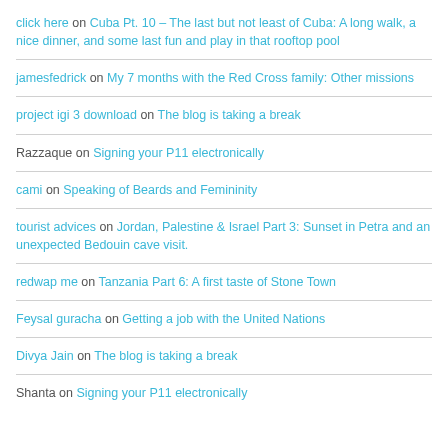click here on Cuba Pt. 10 – The last but not least of Cuba: A long walk, a nice dinner, and some last fun and play in that rooftop pool
jamesfedrick on My 7 months with the Red Cross family: Other missions
project igi 3 download on The blog is taking a break
Razzaque on Signing your P11 electronically
cami on Speaking of Beards and Femininity
tourist advices on Jordan, Palestine & Israel Part 3: Sunset in Petra and an unexpected Bedouin cave visit.
redwap me on Tanzania Part 6: A first taste of Stone Town
Feysal guracha on Getting a job with the United Nations
Divya Jain on The blog is taking a break
Shanta on Signing your P11 electronically